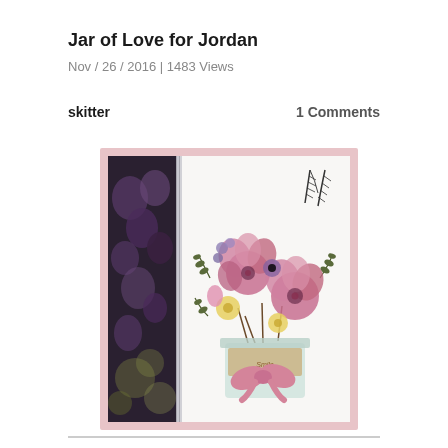Jar of Love for Jordan
Nov / 26 / 2016 | 1483 Views
skitter
1 Comments
[Figure (photo): A handmade greeting card featuring pink and purple flowers arranged in a mason jar with a pink bow. The card has a dark floral patterned panel on the left side with a silver glitter border, and the right side shows the flower bouquet with feather accents on a white background. The card is mounted on a light pink mat.]